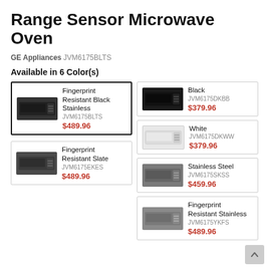Range Sensor Microwave Oven
GE Appliances JVM6175BLTS
Available in 6 Color(s)
| Color | SKU | Price |
| --- | --- | --- |
| Fingerprint Resistant Black Stainless | JVM6175BLTS | $489.96 |
| Black | JVM6175DKBB | $379.96 |
| White | JVM6175DKWW | $379.96 |
| Fingerprint Resistant Slate | JVM6175EKES | $489.96 |
| Stainless Steel | JVM6175SKSS | $459.96 |
| Fingerprint Resistant Stainless | JVM6175YKFS | $489.96 |